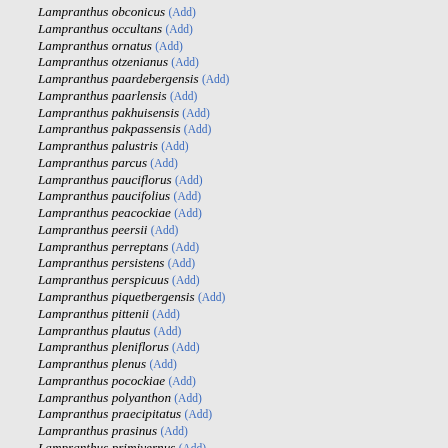Lampranthus obconicus (Add)
Lampranthus occultans (Add)
Lampranthus ornatus (Add)
Lampranthus otzenianus (Add)
Lampranthus paardebergensis (Add)
Lampranthus paarlensis (Add)
Lampranthus pakhuisensis (Add)
Lampranthus pakpassensis (Add)
Lampranthus palustris (Add)
Lampranthus parcus (Add)
Lampranthus pauciflorus (Add)
Lampranthus paucifolius (Add)
Lampranthus peacockiae (Add)
Lampranthus peersii (Add)
Lampranthus perreptans (Add)
Lampranthus persistens (Add)
Lampranthus perspicuus (Add)
Lampranthus piquetbergensis (Add)
Lampranthus pittenii (Add)
Lampranthus plautus (Add)
Lampranthus pleniflorus (Add)
Lampranthus plenus (Add)
Lampranthus pocockiae (Add)
Lampranthus polyanthon (Add)
Lampranthus praecipitatus (Add)
Lampranthus prasinus (Add)
Lampranthus primivernus (Add)
Lampranthus procumbens (Add)
Lampranthus productus (Add)
Lampranthus profundus (Add)